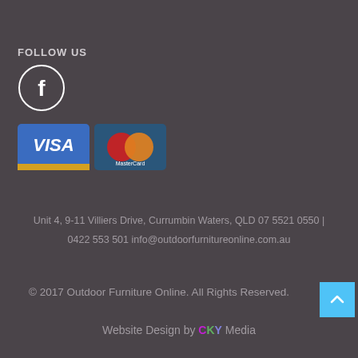FOLLOW US
[Figure (illustration): Facebook icon — white 'f' letter inside a white circle outline on dark background]
[Figure (illustration): VISA payment card logo — blue background with gold stripe at bottom, white VISA text]
[Figure (illustration): MasterCard payment logo — overlapping red and orange circles on dark blue background with MasterCard text]
Unit 4, 9-11 Villiers Drive, Currumbin Waters, QLD 07 5521 0550 | 0422 553 501 info@outdoorfurnitureonline.com.au
© 2017 Outdoor Furniture Online. All Rights Reserved.
Website Design by CKY Media